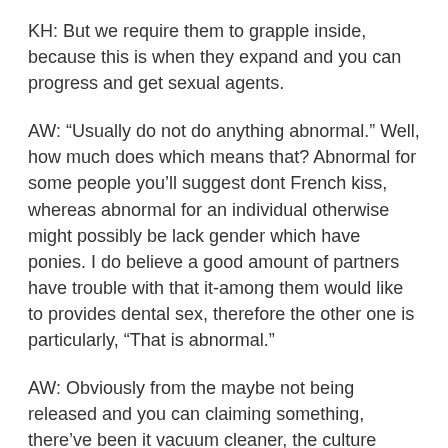KH: But we require them to grapple inside, because this is when they expand and you can progress and get sexual agents.
AW: “Usually do not do anything abnormal.” Well, how much does which means that? Abnormal for some people you’ll suggest dont French kiss, whereas abnormal for an individual otherwise might possibly be lack gender which have ponies. I do believe a good amount of partners have trouble with that it-among them would like to provides dental sex, therefore the other one is particularly, “That is abnormal.”
AW: Obviously from the maybe not being released and you can claiming something, there’ve been it vacuum cleaner, the culture possess accompanied tight, old-fashioned Judeo-Christian regulations.